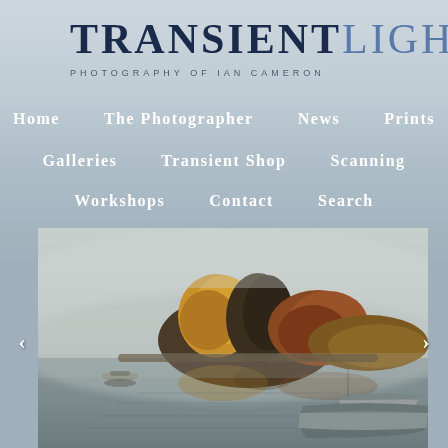TRANSIENT LIGHT
PHOTOGRAPHY OF IAN CAMERON
Home
The Photographer
News
Prints
Galleries
Transient Shop
Scanning
Workshops
Contact
Search
[Figure (photo): Misty lake scene with rowing boats moored on calm water, autumn trees with orange and gold foliage reflected in still water, fog in background, two small boats visible including a larger wooden rowing boat in foreground.]